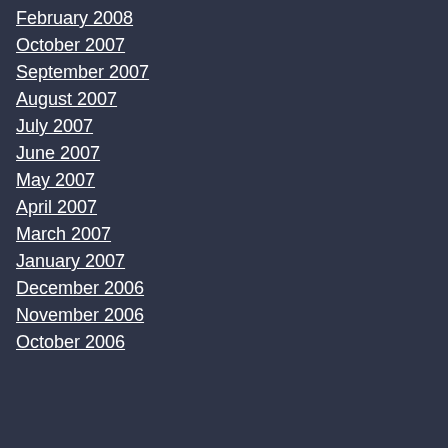February 2008
October 2007
September 2007
August 2007
July 2007
June 2007
May 2007
April 2007
March 2007
January 2007
December 2006
November 2006
October 2006